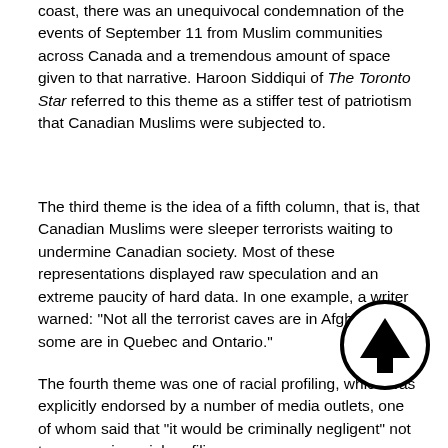coast, there was an unequivocal condemnation of the events of September 11 from Muslim communities across Canada and a tremendous amount of space given to that narrative. Haroon Siddiqui of The Toronto Star referred to this theme as a stiffer test of patriotism that Canadian Muslims were subjected to.
The third theme is the idea of a fifth column, that is, that Canadian Muslims were sleeper terrorists waiting to undermine Canadian society. Most of these representations displayed raw speculation and an extreme paucity of hard data. In one example, a writer warned: "Not all the terrorist caves are in Afghanistan; some are in Quebec and Ontario."
The fourth theme was one of racial profiling, which was explicitly endorsed by a number of media outlets, one of whom said that "it would be criminally negligent" not to engage in racial profiling.
The last theme was one of a clash of civilizations. Many outlets continue to propound the academically discredited thesis of a clash of civilizations, insisting that Muslims were a martial people and that their values were anathema to our values. With such commentary, no hope of symbiosis seems to be possible, a self-fulfilling prophesy on civilizational conflict.
A case in point that only served to reinforce community concern was a national editorial published by the CanWest- owned